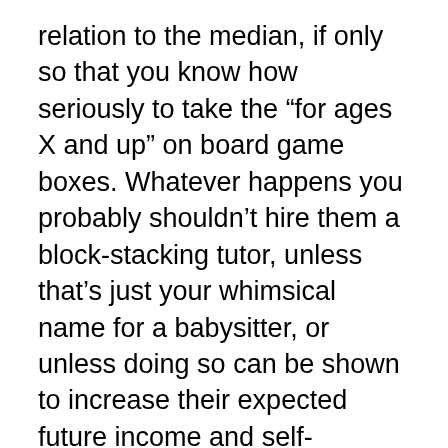relation to the median, if only so that you know how seriously to take the “for ages X and up” on board game boxes. Whatever happens you probably shouldn’t hire them a block-stacking tutor, unless that’s just your whimsical name for a babysitter, or unless doing so can be shown to increase their expected future income and self-reported happiness index.
Toy and baby gear companies heavily push their claimed effects on a child’s development. It’s good that they’re thinking about this, but it does cause a lot of fear of missing out. There aren’t any randomized